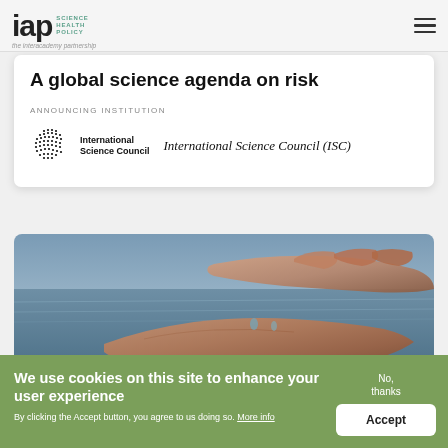IAP Science Health Policy – the Interacademy Partnership
A global science agenda on risk
ANNOUNCING INSTITUTION
[Figure (logo): International Science Council logo with dot-grid globe mark and text 'International Science Council', followed by italic text 'International Science Council (ISC)']
[Figure (photo): Close-up photograph of two hands cupped together over water, in muted cool tones]
We use cookies on this site to enhance your user experience By clicking the Accept button, you agree to us doing so. More info
No, thanks
Accept